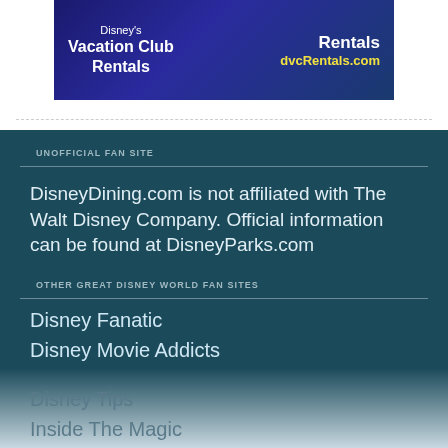[Figure (illustration): Disney Vacation Club Rentals banner ad with dark blue background showing text 'Disney Vacation Club Rentals' on the left and 'Rentals dvcRentals.com' on the right]
UNOFFICIAL FAN SITE
DisneyDining.com is not affiliated with The Walt Disney Company. Official information can be found at DisneyParks.com
OTHER GREAT DISNEY WORLD FAN SITES
Disney Fanatic
Disney Movie Addicts
Disney Tips
Inside The Magic